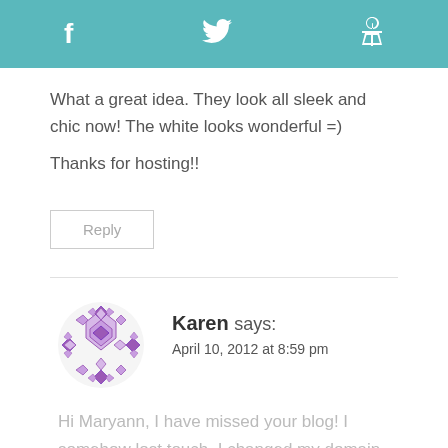f  [twitter bird]  p
What a great idea. They look all sleek and chic now! The white looks wonderful =)

Thanks for hosting!!
Reply
[Figure (illustration): Purple decorative avatar icon with diamond/lattice pattern]
Karen says:
April 10, 2012 at 8:59 pm
Hi Maryann, I have missed your blog! I somehow lost touch, I changed my domain from